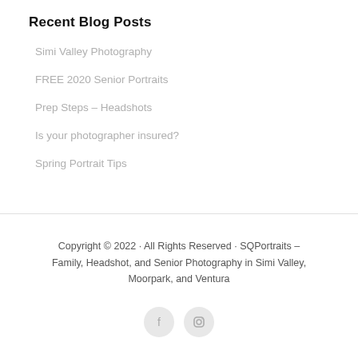Recent Blog Posts
Simi Valley Photography
FREE 2020 Senior Portraits
Prep Steps – Headshots
Is your photographer insured?
Spring Portrait Tips
Copyright © 2022 · All Rights Reserved · SQPortraits – Family, Headshot, and Senior Photography in Simi Valley, Moorpark, and Ventura